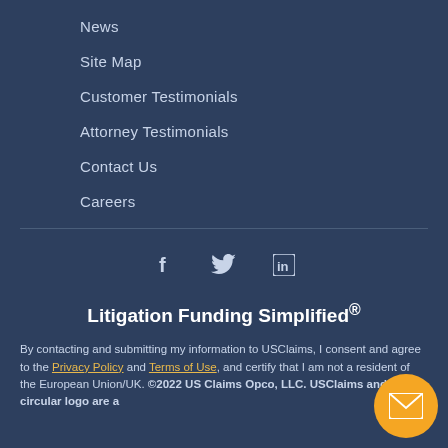News
Site Map
Customer Testimonials
Attorney Testimonials
Contact Us
Careers
[Figure (infographic): Social media icons: Facebook (f), Twitter (bird), LinkedIn (in)]
Litigation Funding Simplified®
By contacting and submitting my information to USClaims, I consent and agree to the Privacy Policy and Terms of Use, and certify that I am not a resident of the European Union/UK. ©2022 US Claims Opco, LLC. USClaims and the circular logo are a